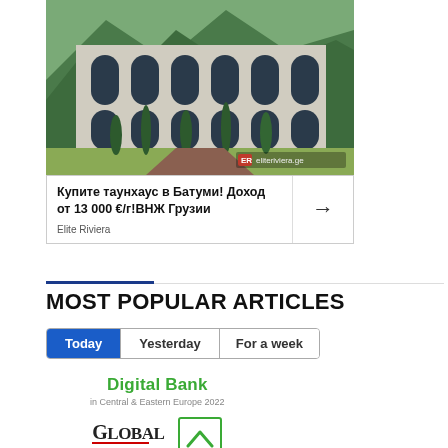[Figure (photo): Advertisement photo showing a luxury townhouse building (Elite Riviera) in Batumi with Gothic arch windows and mountain/green background. Watermark shows 'ER eliteriviera.ge' in bottom right.]
Купите таунхаус в Батуми! Доход от 13 000 €/г!ВНЖ Грузии
Elite Riviera
MOST POPULAR ARTICLES
Today  Yesterday  For a week
[Figure (logo): Digital Bank in Central & Eastern Europe 2022 award logo with Global Finance magazine logo and a green chevron/lambda symbol logo]
Digital Bank
in Central & Eastern Europe 2022